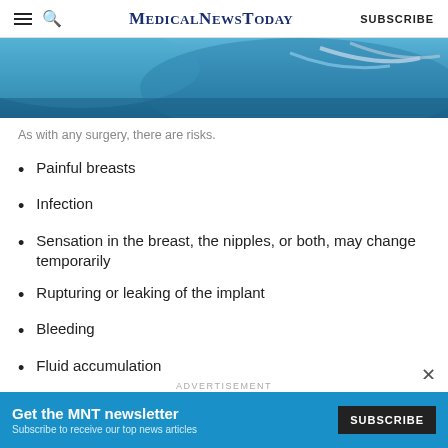MedicalNewsToday  SUBSCRIBE
[Figure (photo): Close-up photo of surgical scene with blue drapes and medical instruments]
As with any surgery, there are risks.
Painful breasts
Infection
Sensation in the breast, the nipples, or both, may change temporarily
Rupturing or leaking of the implant
Bleeding
Fluid accumulation
[Figure (screenshot): Advertisement banner: Get the MNT newsletter. Subscribe to receive our top news articles. SUBSCRIBE button.]